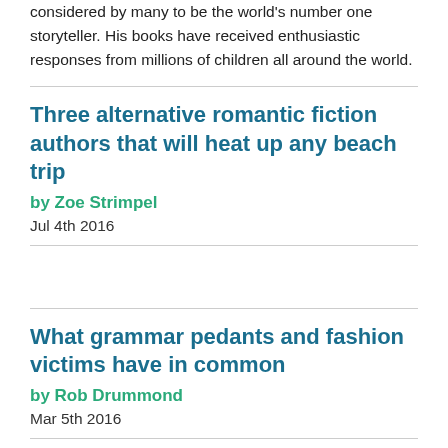considered by many to be the world's number one storyteller. His books have received enthusiastic responses from millions of children all around the world.
Three alternative romantic fiction authors that will heat up any beach trip
by Zoe Strimpel
Jul 4th 2016
What grammar pedants and fashion victims have in common
by Rob Drummond
Mar 5th 2016
Language pedants who take pleasure in policing others, and it is more of a concern often than a passion of...